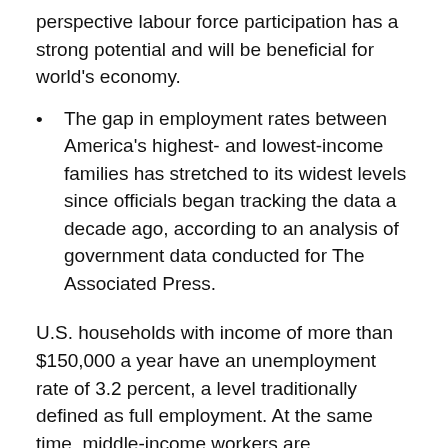perspective labour force participation has a strong potential and will be beneficial for world's economy.
The gap in employment rates between America's highest- and lowest-income families has stretched to its widest levels since officials began tracking the data a decade ago, according to an analysis of government data conducted for The Associated Press.
U.S. households with income of more than $150,000 a year have an unemployment rate of 3.2 percent, a level traditionally defined as full employment. At the same time, middle-income workers are increasingly pushed into lower-wage jobs. Many of them in turn are displacing lower-skilled, low-income workers, who become unemployed or are forced to work fewer hours, the analysis shows.